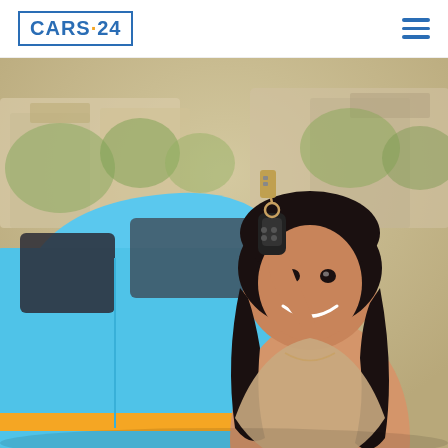CARS·24 logo and navigation menu
[Figure (photo): A smiling young woman with long dark wavy hair holds up car keys in front of a blue car. She is wearing a beige top. The background shows a residential neighborhood with trees and houses, blurred. The scene is bright and sunny.]